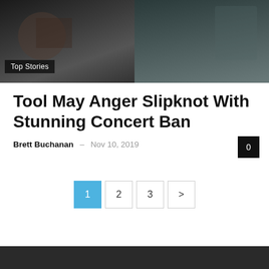[Figure (photo): Two-panel photo banner showing close-up images, dark tones. Left panel shows hands/figures in dark setting; right panel shows a person in dark clothing.]
Top Stories
Tool May Anger Slipknot With Stunning Concert Ban
Brett Buchanan – Nov 10, 2019
0